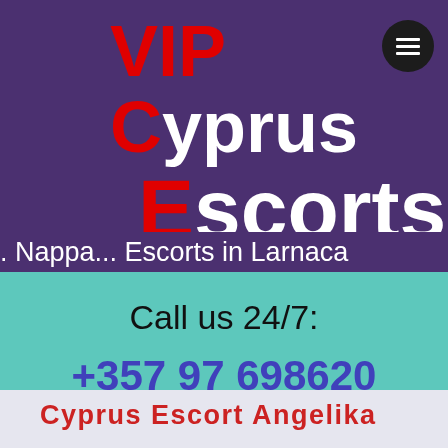VIP Cyprus Escorts
Nappa... Escorts in Larnaca
Call us 24/7:
+357 97 698620
Cyprus Escort Angelika